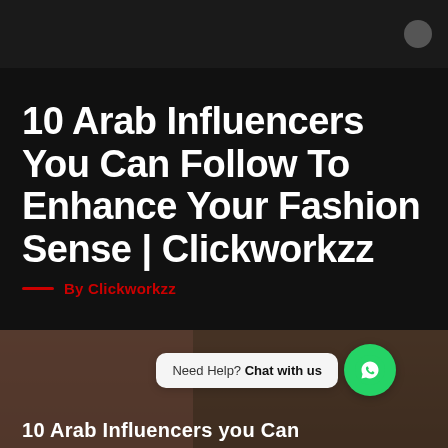10 Arab Influencers You Can Follow To Enhance Your Fashion Sense | Clickworkzz
By Clickworkzz
[Figure (photo): Photo collage of Arab influencers with overlay text '10 Arab Influencers you Can']
Need Help? Chat with us